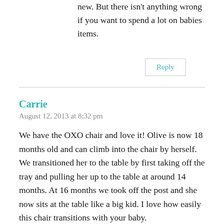new. But there isn't anything wrong if you want to spend a lot on babies items.
Reply
Carrie
August 12, 2013 at 8:32 pm
We have the OXO chair and love it! Olive is now 18 months old and can climb into the chair by herself. We transitioned her to the table by first taking off the tray and pulling her up to the table at around 14 months. At 16 months we took off the post and she now sits at the table like a big kid. I love how easily this chair transitions with your baby.